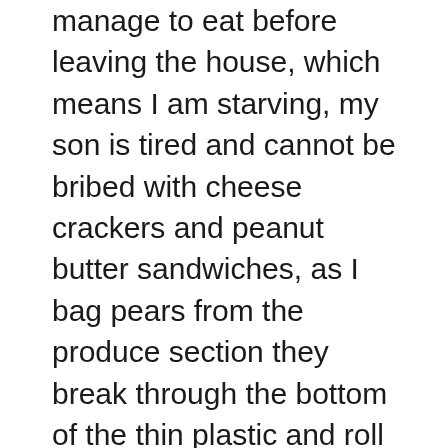manage to eat before leaving the house, which means I am starving, my son is tired and cannot be bribed with cheese crackers and peanut butter sandwiches, as I bag pears from the produce section they break through the bottom of the thin plastic and roll all over the grocery store floor, the line at the checkout lane appears to be taking forever, the toddler in line in front of me is screaming as if someone is trying to kill him, the people behind me keep jamming their shopping cart into my legs and somehow my plan to stop in for a gallon of milk turned into $100 worth of groceries.
Normally I would stand in line and shift my weight from side-to-side. I would feel agitated and angry